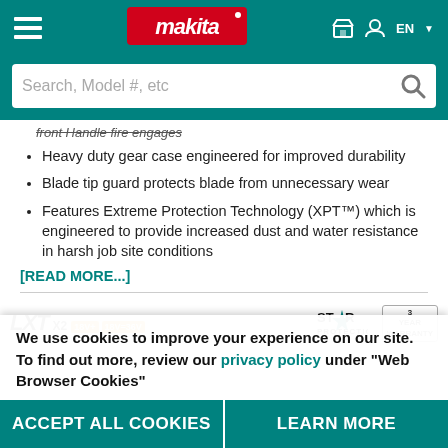Makita website header with hamburger menu, Makita logo, store icon, user icon, and EN language selector
Search, Model #, etc
front Handle fire engages
Heavy duty gear case engineered for improved durability
Blade tip guard protects blade from unnecessary wear
Features Extreme Protection Technology (XPT™) which is engineered to provide increased dust and water resistance in harsh job site conditions
[READ MORE...]
[Figure (logo): LXT X2 18V+18V 36V logo, STAR PROTECTION badge, 3-year warranty badge]
We use cookies to improve your experience on our site. To find out more, review our privacy policy under "Web Browser Cookies"
ACCEPT ALL COOKIES   LEARN MORE